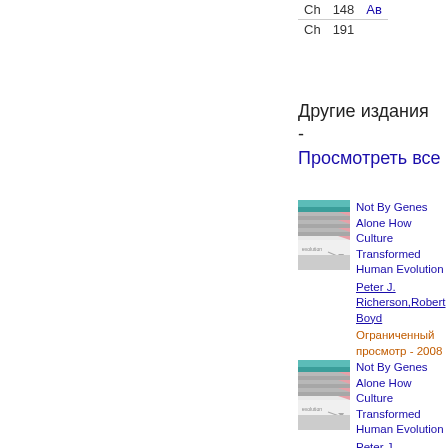|  |  |  |
| --- | --- | --- |
| Ch | 148 | Ав |
| Ch | 191 |  |
Другие издания - Просмотреть все
[Figure (illustration): Book cover thumbnail for Not By Genes Alone - entry 1]
Not By Genes Alone How Culture Transformed Human Evolution Peter J. Richerson,Robert Boyd Ограниченный просмотр - 2008
[Figure (illustration): Book cover thumbnail for Not By Genes Alone - entry 2]
Not By Genes Alone How Culture Transformed Human Evolution Peter J.